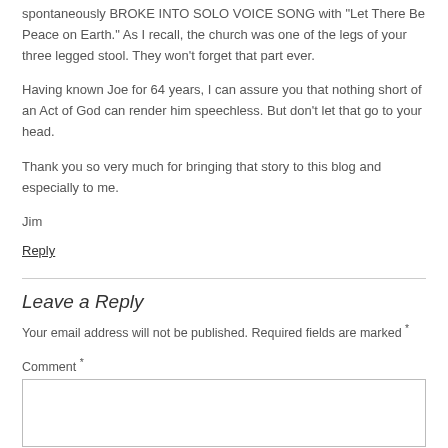spontaneously BROKE INTO SOLO VOICE SONG with "Let There Be Peace on Earth." As I recall, the church was one of the legs of your three legged stool. They won't forget that part ever.
Having known Joe for 64 years, I can assure you that nothing short of an Act of God can render him speechless. But don't let that go to your head.
Thank you so very much for bringing that story to this blog and especially to me.
Jim
Reply
Leave a Reply
Your email address will not be published. Required fields are marked *
Comment *